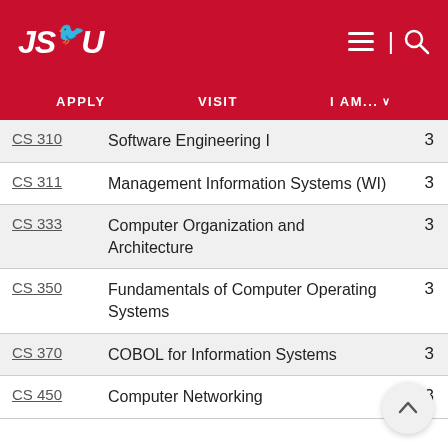JSU | APPLY | VISIT | I AM...
| Course | Name | Credits |
| --- | --- | --- |
| CS 310 | Software Engineering I | 3 |
| CS 311 | Management Information Systems (WI) | 3 |
| CS 333 | Computer Organization and Architecture | 3 |
| CS 350 | Fundamentals of Computer Operating Systems | 3 |
| CS 370 | COBOL for Information Systems | 3 |
| CS 450 | Computer Networking | 3 |